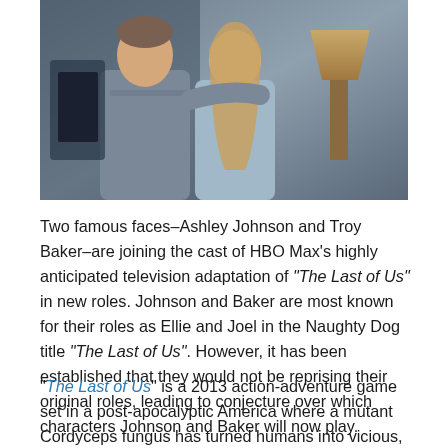[Figure (photo): Two people posing together indoors — a man in a grey shirt on the left with his arm around a woman with long blonde hair on the right, wearing a light blue top. A lamp and dark-paneled wall visible in background.]
Two famous faces–Ashley Johnson and Troy Baker–are joining the cast of HBO Max's highly anticipated television adaptation of "The Last of Us" in new roles. Johnson and Baker are most known for their roles as Ellie and Joel in the Naughty Dog title "The Last of Us". However, it has been established that they would not be reprising their original roles, leading to conjecture over which characters Johnson and Baker will now play.
"The Last of Us" is a 2013 action-adventure game set in a post-apocalyptic America where a mutant Cordyceps fungus has turned humans into vicious, zombie-like creatures known as the Infected. Joel Miller is a smuggler tasked with keeping Ellie